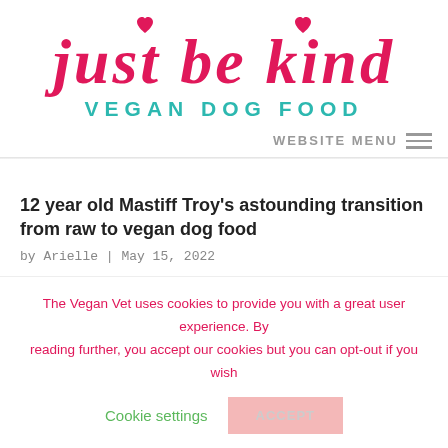[Figure (logo): Just Be Kind Vegan Dog Food logo with pink cursive text and teal subtitle]
WEBSITE MENU
12 year old Mastiff Troy's astounding transition from raw to vegan dog food
by Arielle | May 15, 2022
The Vegan Vet uses cookies to provide you with a great user experience. By reading further, you accept our cookies but you can opt-out if you wish
Cookie settings
ACCEPT